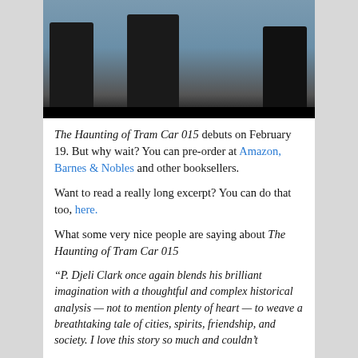[Figure (photo): Photo of people in dark suits standing, with architectural structures in background, black bar at bottom]
The Haunting of Tram Car 015 debuts on February 19. But why wait? You can pre-order at Amazon, Barnes & Nobles and other booksellers.
Want to read a really long excerpt? You can do that too, here.
What some very nice people are saying about The Haunting of Tram Car 015
“P. Djeli Clark once again blends his brilliant imagination with a thoughtful and complex historical analysis — not to mention plenty of heart — to weave a breathtaking tale of cities, spirits, friendship, and society. I love this story so much and couldn’t